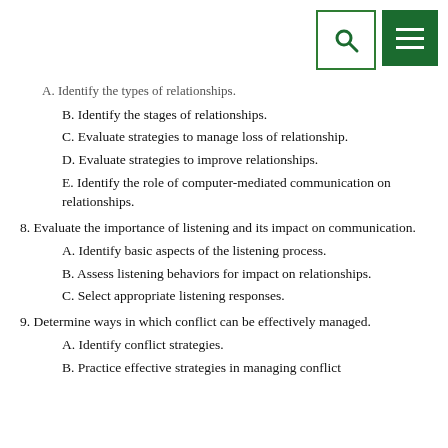[Figure (other): Top-right UI icons: search (magnifying glass in green-bordered box) and menu (three horizontal lines in solid green box)]
A. Identify the types of relationships. (truncated/partially visible)
B. Identify the stages of relationships.
C. Evaluate strategies to manage loss of relationship.
D. Evaluate strategies to improve relationships.
E. Identify the role of computer-mediated communication on relationships.
8. Evaluate the importance of listening and its impact on communication.
A. Identify basic aspects of the listening process.
B. Assess listening behaviors for impact on relationships.
C. Select appropriate listening responses.
9. Determine ways in which conflict can be effectively managed.
A. Identify conflict strategies.
B. Practice effective strategies in managing conflict